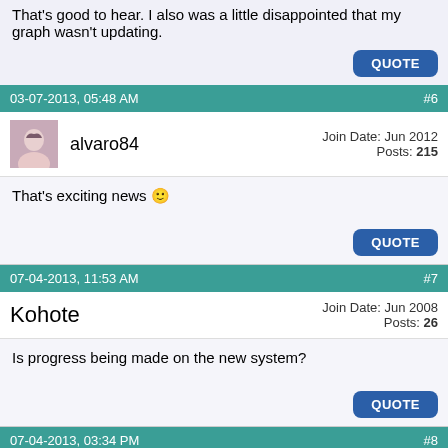That's good to hear. I also was a little disappointed that my graph wasn't updating.
QUOTE
03-07-2013, 05:48 AM   #6
alvaro84  Join Date: Jun 2012  Posts: 215
That's exciting news 🙂
QUOTE
07-04-2013, 11:53 AM   #7
Kohote  Join Date: Jun 2008  Posts: 26
Is progress being made on the new system?
QUOTE
07-04-2013, 03:34 PM   #8
Join Date: Sep 2008